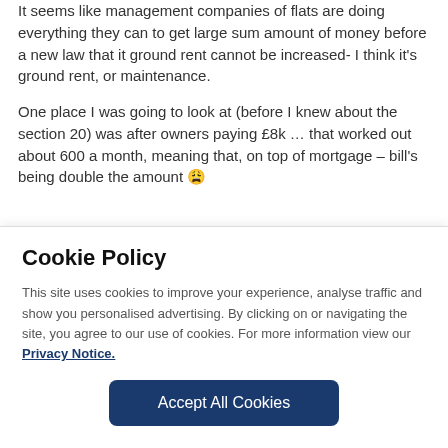It seems like management companies of flats are doing everything they can to get large sum amount of money before a new law that it ground rent cannot be increased- I think it's ground rent, or maintenance.
One place I was going to look at (before I knew about the section 20) was after owners paying £8k … that worked out about 600 a month, meaning that, on top of mortgage – bill's being double the amount 😩
Cookie Policy
This site uses cookies to improve your experience, analyse traffic and show you personalised advertising. By clicking on or navigating the site, you agree to our use of cookies. For more information view our Privacy Notice.
Accept All Cookies